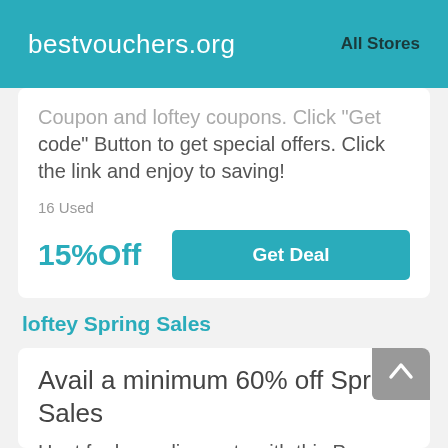bestvouchers.org   All Stores
Coupon and loftey coupons. Click "Get code" Button to get special offers. Click the link and enjoy to saving!
16 Used
15%Off
Get Deal
loftey Spring Sales
Avail a minimum 60% off Spring Sales
Hunt for huge discounts with this Promo Code & loftey coupons: Avail a